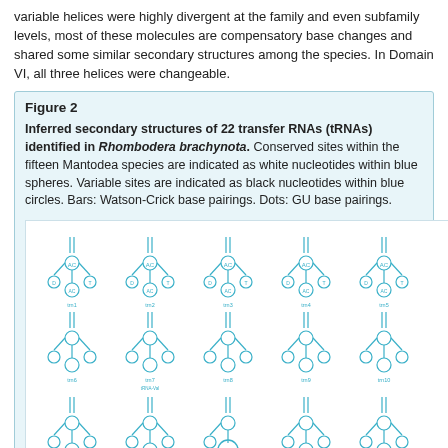variable helices were highly divergent at the family and even subfamily levels, most of these molecules are compensatory base changes and shared some similar secondary structures among the species. In Domain VI, all three helices were changeable.
Figure 2
Inferred secondary structures of 22 transfer RNAs (tRNAs) identified in Rhombodera brachynota. Conserved sites within the fifteen Mantodea species are indicated as white nucleotides within blue spheres. Variable sites are indicated as black nucleotides within blue circles. Bars: Watson-Crick base pairings. Dots: GU base pairings.
[Figure (illustration): Diagram showing inferred secondary structures of 22 tRNAs identified in Rhombodera brachynota, displayed as a grid of tRNA cloverleaf-like structures drawn in blue/cyan on white background, with labeled arms and nucleotide positions.]